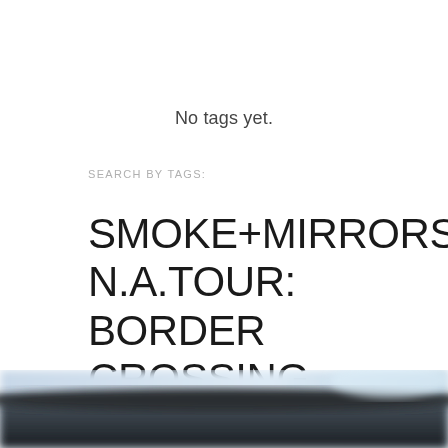No tags yet.
SEARCH BY TAGS:
SMOKE+MIRRORS N.A.TOUR: BORDER CROSSING
[Figure (photo): Blurred outdoor photo showing a dark silhouette of a building or landscape against a bright sky with blue tones, blurred/out of focus.]